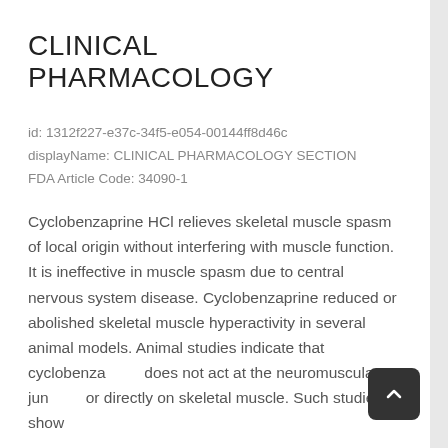CLINICAL PHARMACOLOGY
id: 1312f227-e37c-34f5-e054-00144ff8d46c
displayName: CLINICAL PHARMACOLOGY SECTION
FDA Article Code: 34090-1
Cyclobenzaprine HCl relieves skeletal muscle spasm of local origin without interfering with muscle function. It is ineffective in muscle spasm due to central nervous system disease. Cyclobenzaprine reduced or abolished skeletal muscle hyperactivity in several animal models. Animal studies indicate that cyclobenzaprine does not act at the neuromuscular junction or directly on skeletal muscle. Such studies show